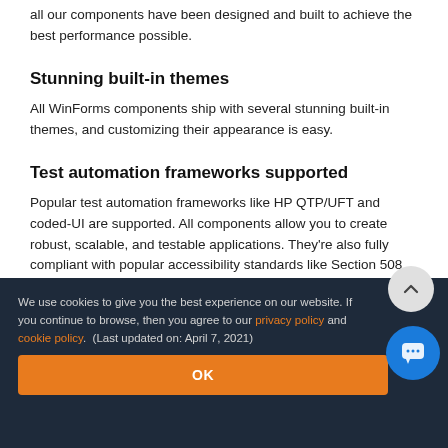all our components have been designed and built to achieve the best performance possible.
Stunning built-in themes
All WinForms components ship with several stunning built-in themes, and customizing their appearance is easy.
Test automation frameworks supported
Popular test automation frameworks like HP QTP/UFT and coded-UI are supported. All components allow you to create robust, scalable, and testable applications. They're also fully compliant with popular accessibility standards like Section 508 and VPAT.
Localization simplified
We use cookies to give you the best experience on our website. If you continue to browse, then you agree to our privacy policy and cookie policy.  (Last updated on: April 7, 2021)
OK